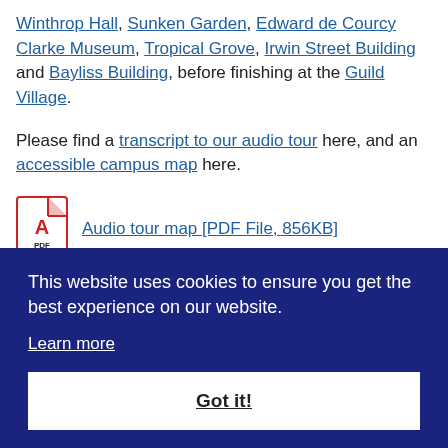Winthrop Hall, Sunken Garden, Edward de Courcy Clarke Museum, Tropical Grove, Irwin Street Building and Bayliss Building, before finishing at the Guild Village.
Please find a transcript to our audio tour here, and an accessible campus map here.
[Figure (other): PDF icon with red border and Acrobat logo, labeled PDF]
Audio tour map [PDF File, 856KB]
[Figure (other): PDF icon with red border and Acrobat logo (partially visible)]
Audio tour map – Chinese [PDF
This website uses cookies to ensure you get the best experience on our website.
Learn more
Got it!